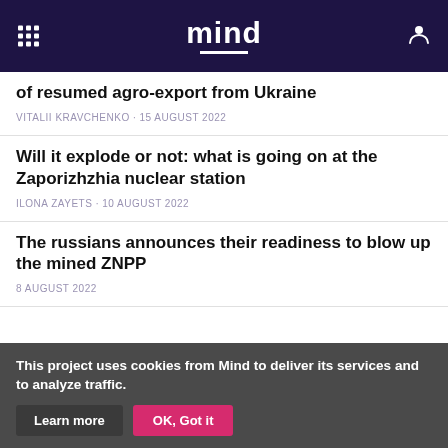mind
of resumed agro-export from Ukraine
VITALII KRAVCHENKO · 15 AUGUST 2022
Will it explode or not: what is going on at the Zaporizhzhia nuclear station
ILONA ZAYETS · 10 AUGUST 2022
The russians announces their readiness to blow up the mined ZNPP
8 AUGUST 2022
This project uses cookies from Mind to deliver its services and to analyze traffic. Learn more OK, Got it